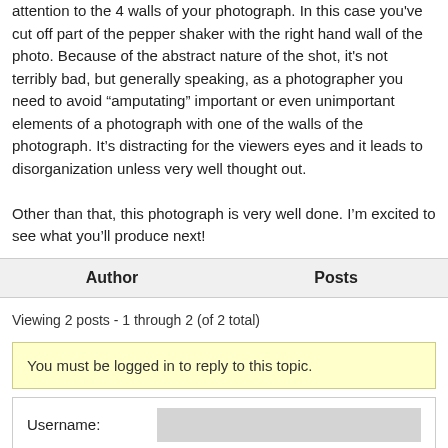attention to the 4 walls of your photograph. In this case you've cut off part of the pepper shaker with the right hand wall of the photo. Because of the abstract nature of the shot, it's not terribly bad, but generally speaking, as a photographer you need to avoid "amputating" important or even unimportant elements of a photograph with one of the walls of the photograph. It's distracting for the viewers eyes and it leads to disorganization unless very well thought out.

Other than that, this photograph is very well done. I'm excited to see what you'll produce next!
| Author | Posts |
| --- | --- |
Viewing 2 posts - 1 through 2 (of 2 total)
You must be logged in to reply to this topic.
Username:
Password:
Keep me signed in